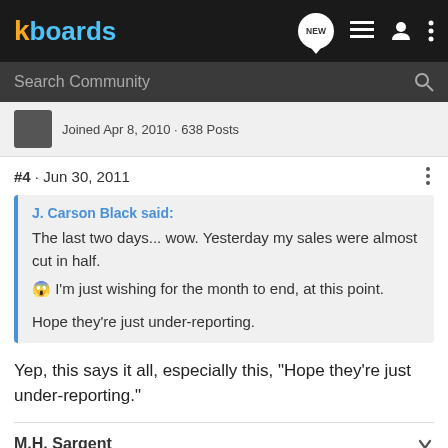kboards
Search Community
Joined Apr 8, 2010 · 638 Posts
#4 · Jun 30, 2011
J. Carson Black said:
The last two days... wow. Yesterday my sales were almost cut in half. 😱 I'm just wishing for the month to end, at this point.

Hope they're just under-reporting.
Yep, this says it all, especially this, "Hope they're just under-reporting."
M.H. Sargent